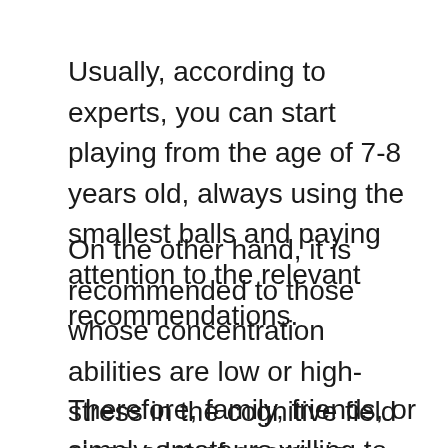Usually, according to experts, you can start playing from the age of 7-8 years old, always using the smallest balls and paying attention to the relevant recommendations.
On the other hand, it is recommended to those whose concentration abilities are low or high-stress in the cognitive field since a lot of energy is released in its practice.
Therefore, family, friends, or simply amateurs willing to practice this activity